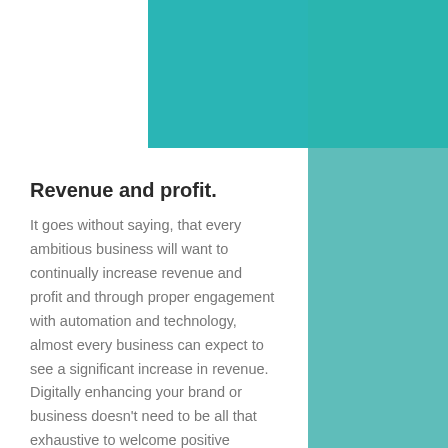[Figure (photo): Teal banner at top with dark circular shadow/vignette at center top, and a teal city-overlay panel on the right side of the page]
Revenue and profit.
It goes without saying, that every ambitious business will want to continually increase revenue and profit and through proper engagement with automation and technology, almost every business can expect to see a significant increase in revenue. Digitally enhancing your brand or business doesn't need to be all that exhaustive to welcome positive change. Simple measures such as having your own website or e-commerce store, multiple social accounts and regularly updated